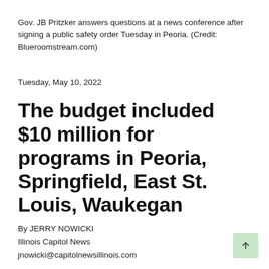Gov. JB Pritzker answers questions at a news conference after signing a public safety order Tuesday in Peoria. (Credit: Blueroomstream.com)
Tuesday, May 10, 2022
The budget included $10 million for programs in Peoria, Springfield, East St. Louis, Waukegan
By JERRY NOWICKI
Illinois Capitol News
jnowicki@capitolnewsillinois.com